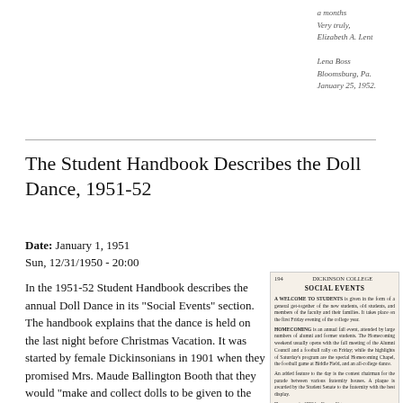[Figure (photo): Handwritten letter fragment showing cursive text with a signature, location 'Bloomsburg, Pa.' and date 'January 25, 1952']
The Student Handbook Describes the Doll Dance, 1951-52
Date:  January 1, 1951
Sun, 12/31/1950 - 20:00
In the 1951-52 Student Handbook describes the annual Doll Dance in its "Social Events" section. The handbook explains that the dance is held on the last night before Christmas Vacation. It was started by female Dickinsonians in 1901 when they promised Mrs. Maude Ballington Booth that they would "make and collect dolls to be given to the
[Figure (screenshot): Inset image of a page from a Dickinson College student handbook showing 'SOCIAL EVENTS' section with text about A Welcome to Students, Homecoming, and The Doll Dance]